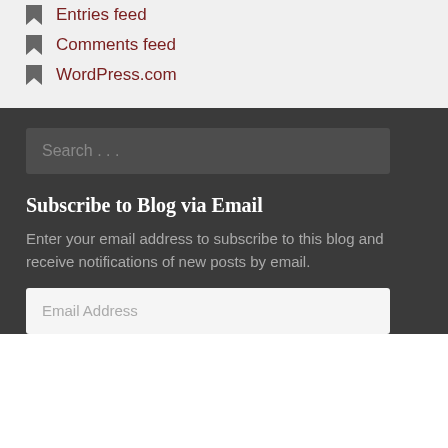Entries feed
Comments feed
WordPress.com
Search . . .
Subscribe to Blog via Email
Enter your email address to subscribe to this blog and receive notifications of new posts by email.
Email Address